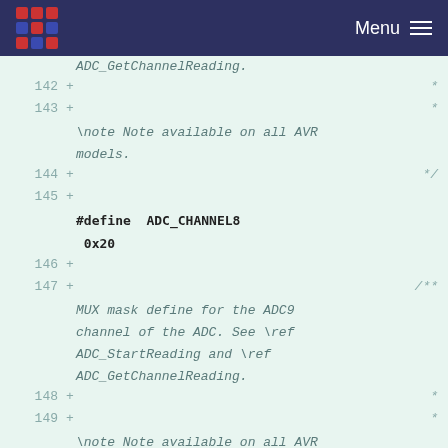Menu
[Figure (screenshot): Code diff view showing lines 142-150 of a C header file with ADC channel definitions and Doxygen comments for AVR microcontroller ADC channels 8 and 9]
ADC_GetChannelReading.
142 +    *
143 +    *
    \note Note available on all AVR models.
144 +    */
145 +
    #define  ADC_CHANNEL8   0x20
146 +
147 +    /**
    MUX mask define for the ADC9 channel of the ADC. See \ref ADC_StartReading and \ref ADC_GetChannelReading.
148 +    *
149 +    *
    \note Note available on all AVR models.
150 +    */